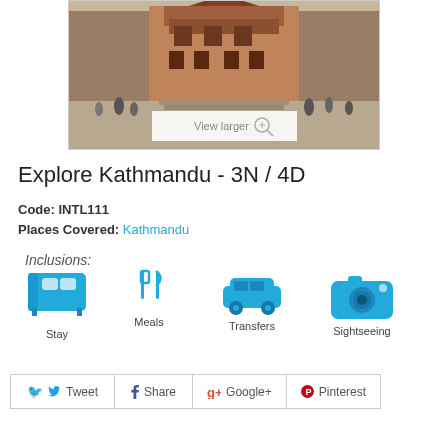[Figure (photo): Aerial/elevated view of Kathmandu Durbar Square with traditional temple architecture, crowds of people, brick buildings]
View larger
Explore Kathmandu - 3N / 4D
Code: INTL111
Places Covered: Kathmandu
Inclusions:
[Figure (infographic): Four inclusion icons: Stay (bed icon), Meals (fork and knife icon), Transfers (car icon), Sightseeing (camera icon), all in cyan/teal color]
Tweet  Share  Google+  Pinterest